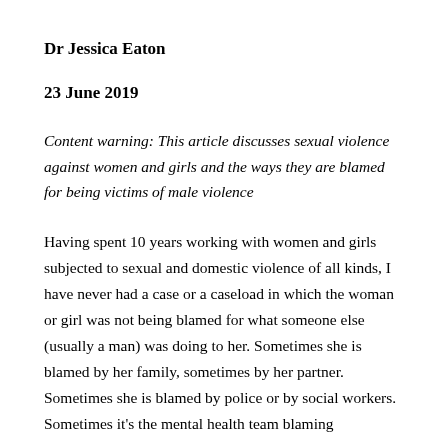Dr Jessica Eaton
23 June 2019
Content warning: This article discusses sexual violence against women and girls and the ways they are blamed for being victims of male violence
Having spent 10 years working with women and girls subjected to sexual and domestic violence of all kinds, I have never had a case or a caseload in which the woman or girl was not being blamed for what someone else (usually a man) was doing to her. Sometimes she is blamed by her family, sometimes by her partner. Sometimes she is blamed by police or by social workers. Sometimes it’s the mental health team blaming